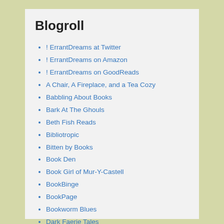Blogroll
! ErrantDreams at Twitter
! ErrantDreams on Amazon
! ErrantDreams on GoodReads
A Chair, A Fireplace, and a Tea Cozy
Babbling About Books
Bark At The Ghouls
Beth Fish Reads
Bibliotropic
Bitten by Books
Book Den
Book Girl of Mur-Y-Castell
BookBinge
BookPage
Bookworm Blues
Dark Faerie Tales
Dear Author
Fantasy Book Critic
Fantasy Book Review